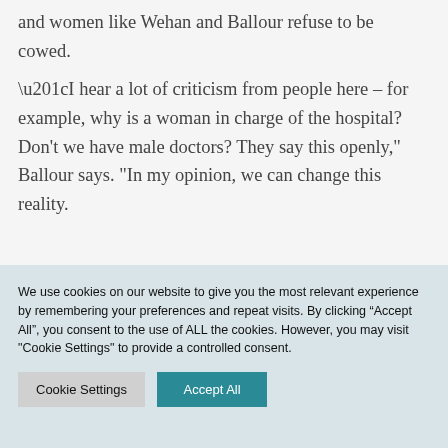and women like Wehan and Ballour refuse to be cowed.
“I hear a lot of criticism from people here – for example, why is a woman in charge of the hospital? Don’t we have male doctors? They say this openly,” Ballour says. “In my opinion, we can change this reality.
We use cookies on our website to give you the most relevant experience by remembering your preferences and repeat visits. By clicking “Accept All”, you consent to the use of ALL the cookies. However, you may visit "Cookie Settings" to provide a controlled consent.